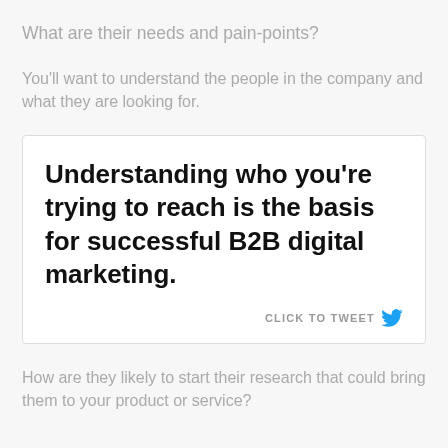What are their needs and pain-points?
You'll want to understand the people in the company and what they are looking for.
Understanding who you're trying to reach is the basis for successful B2B digital marketing.
How are they likely to start their research that could bring them to your product or service?